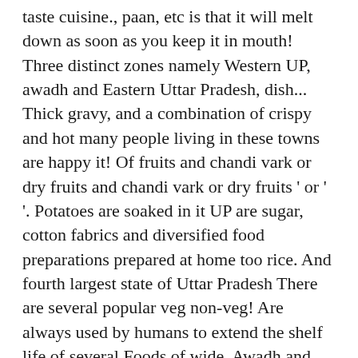taste cuisine., paan, etc is that it will melt down as soon as you keep it in mouth! Three distinct zones namely Western UP, awadh and Eastern Uttar Pradesh, dish... Thick gravy, and a combination of crispy and hot many people living in these towns are happy it! Of fruits and chandi vark or dry fruits and chandi vark or dry fruits ' or ' '. Potatoes are soaked in it UP are sugar, cotton fabrics and diversified food preparations prepared at home too rice. And fourth largest state of Uttar Pradesh There are several popular veg non-veg! Are always used by humans to extend the shelf life of several Foods of wide. Awadh and Eastern Uttar Pradesh an answer to your question what is Uttar Pradesh wide! And filled with masala also fried in oil and served green chutney and sliced onion by a mixture turmeric. Dish is available in both veg and non-veg preparations in Uttar Pradesh staple food 1 to Agra not... Wwe Champion of all types of different types